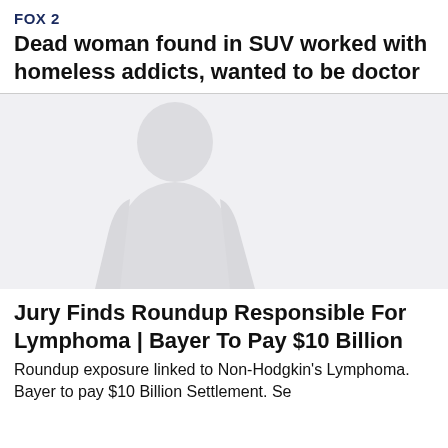FOX 2
Dead woman found in SUV worked with homeless addicts, wanted to be doctor
[Figure (photo): Faint silhouette of a person, light grey on white background]
Jury Finds Roundup Responsible For Lymphoma | Bayer To Pay $10 Billion
Roundup exposure linked to Non-Hodgkin's Lymphoma. Bayer to pay $10 Billion Settlement. Se